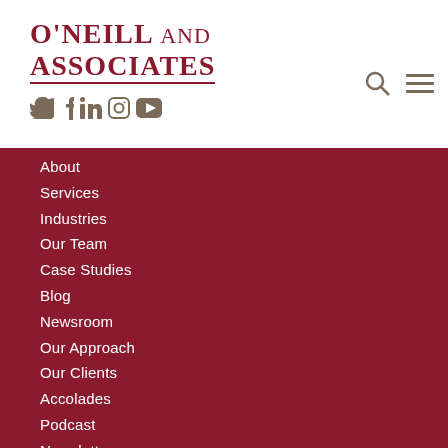O'Neill and Associates
[Figure (logo): O'Neill and Associates company logo with social media icons (Twitter, Facebook, LinkedIn, Instagram, YouTube) and search/menu icons]
About
Services
Industries
Our Team
Case Studies
Blog
Newsroom
Our Approach
Our Clients
Accolades
Podcast
Newsletter
Careers
Sitemap